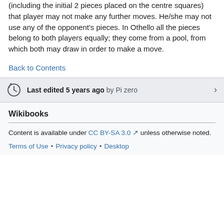(including the initial 2 pieces placed on the centre squares) that player may not make any further moves. He/she may not use any of the opponent's pieces. In Othello all the pieces belong to both players equally; they come from a pool, from which both may draw in order to make a move.
Back to Contents
Last edited 5 years ago by Pi zero
Wikibooks
Content is available under CC BY-SA 3.0 unless otherwise noted.
Terms of Use • Privacy policy • Desktop